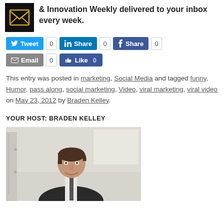[Figure (logo): Black square icon with envelope/letter graphic]
& Innovation Weekly delivered to your inbox every week.
[Figure (infographic): Social sharing buttons: Tweet (0), Share on LinkedIn (0), Share on Facebook (0), Email (0), Like (0)]
This entry was posted in marketing, Social Media and tagged funny, Humor, pass along, social marketing, Video, viral marketing, viral video on May 23, 2012 by Braden Kelley.
YOUR HOST: BRADEN KELLEY
[Figure (photo): Headshot photo of Braden Kelley, a man in a dark suit smiling, in front of a light-colored wall with what appears to be a whiteboard.]